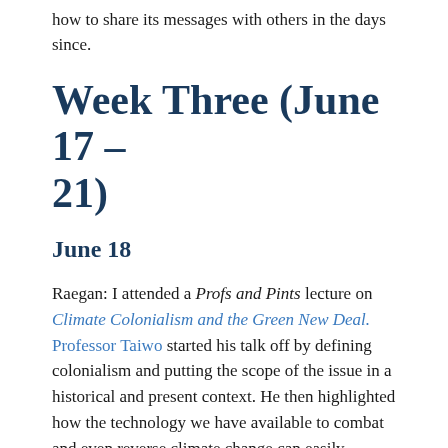how to share its messages with others in the days since.
Week Three (June 17 – 21)
June 18
Raegan: I attended a Profs and Pints lecture on Climate Colonialism and the Green New Deal. Professor Taiwo started his talk off by defining colonialism and putting the scope of the issue in a historical and present context. He then highlighted how the technology we have available to combat and even reverse climate change can easily disenfranchise people and nations through land grabs, resource grabs, and geoengineering. These actions would not only impose economic and development control over the global south, but would also continue the dominion of wealthy nations over these through asserting moral